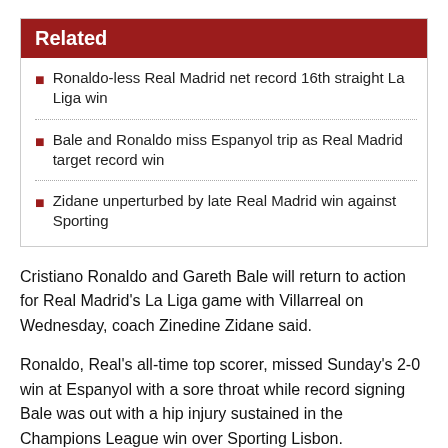Related
Ronaldo-less Real Madrid net record 16th straight La Liga win
Bale and Ronaldo miss Espanyol trip as Real Madrid target record win
Zidane unperturbed by late Real Madrid win against Sporting
Cristiano Ronaldo and Gareth Bale will return to action for Real Madrid's La Liga game with Villarreal on Wednesday, coach Zinedine Zidane said.
Ronaldo, Real's all-time top scorer, missed Sunday's 2-0 win at Espanyol with a sore throat while record signing Bale was out with a hip injury sustained in the Champions League win over Sporting Lisbon.